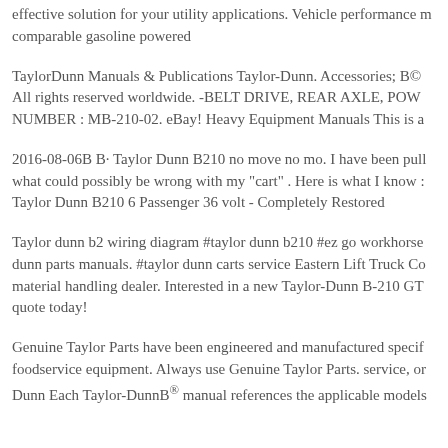effective solution for your utility applications. Vehicle performance m comparable gasoline powered
TaylorDunn Manuals & Publications Taylor-Dunn. Accessories; B© All rights reserved worldwide. -BELT DRIVE, REAR AXLE, POW NUMBER : MB-210-02. eBay! Heavy Equipment Manuals This is a
2016-08-06B B· Taylor Dunn B210 no move no mo. I have been pull what could possibly be wrong with my "cart" . Here is what I know : Taylor Dunn B210 6 Passenger 36 volt - Completely Restored
Taylor dunn b2 wiring diagram #taylor dunn b210 #ez go workhorse dunn parts manuals. #taylor dunn carts service Eastern Lift Truck Co material handling dealer. Interested in a new Taylor-Dunn B-210 GT quote today!
Genuine Taylor Parts have been engineered and manufactured specif foodservice equipment. Always use Genuine Taylor Parts. service, or Dunn Each Taylor-DunnB® manual references the applicable models